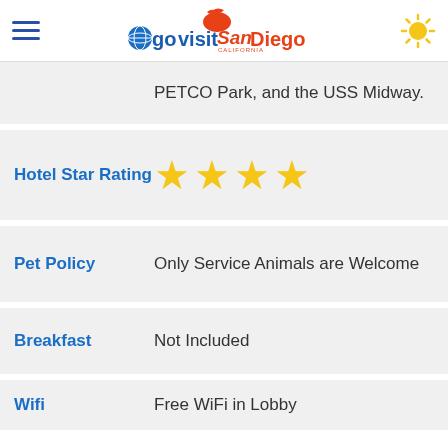go visit San Diego
PETCO Park, and the USS Midway.
| Field | Value |
| --- | --- |
| Hotel Star Rating | ★★★★ |
| Pet Policy | Only Service Animals are Welcome |
| Breakfast | Not Included |
| Wifi | Free WiFi in Lobby |